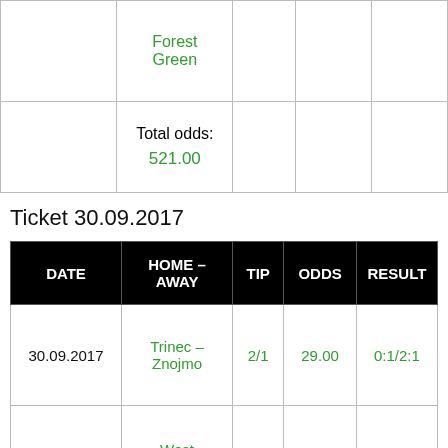| DATE | HOME – AWAY | TIP | ODDS | RESULT |
| --- | --- | --- | --- | --- |
|  | Forest Green |  |  |  |
|  | Total odds:
521.00 |  |  |  |
Ticket 30.09.2017
| DATE | HOME – AWAY | TIP | ODDS | RESULT |
| --- | --- | --- | --- | --- |
| 30.09.2017 | Trinec – Znojmo | 2/1 | 29.00 | 0:1/2:1 |
| 30.09.2017 | West Bromwich – Watford | 1/X | 14.00 | 2:1/2:2 |
|  | Total odds:
406.00 |  |  |  |